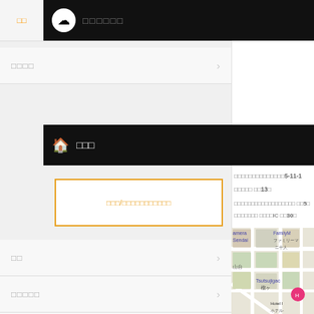□□ □□□□□□□
□□□□
□□□
[Figure (screenshot): Orange-bordered input box with orange placeholder text]
□□
□□□□□
LiveFans PUSH!
□□□□□□□□
□□□□
□□□□
□□□□□□□□□□□□□□□5-11-1
□□□□□ □□13□
□□□□□□□□□□□□□□□□□□ □□5□
□□□□□□□ □□□□IC □□30□
[Figure (map): Street map showing Tsutsujigaoka area with camera Sendai, FamilyMart labels]